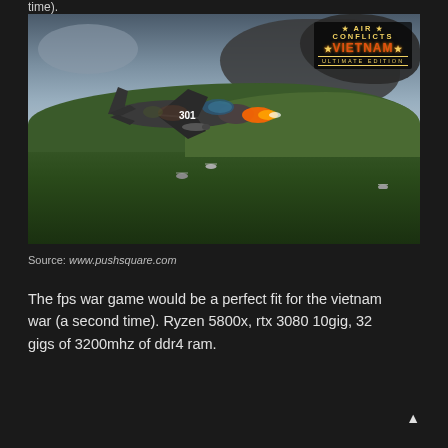time).
[Figure (screenshot): Screenshot from Air Conflicts: Vietnam Ultimate Edition game showing a military jet aircraft firing weapons over a jungle landscape with helicopters in the background. The game logo appears in the top-right corner of the image.]
Source: www.pushsquare.com
The fps war game would be a perfect fit for the vietnam war (a second time). Ryzen 5800x, rtx 3080 10gig, 32 gigs of 3200mhz of ddr4 ram.